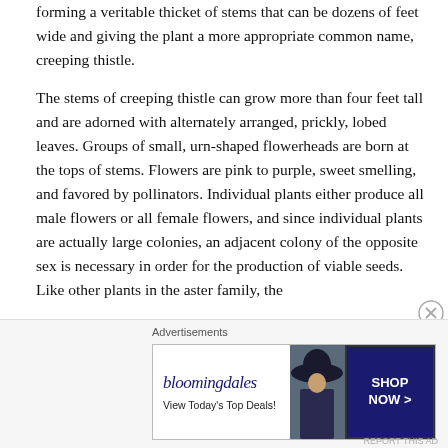forming a veritable thicket of stems that can be dozens of feet wide and giving the plant a more appropriate common name, creeping thistle.
The stems of creeping thistle can grow more than four feet tall and are adorned with alternately arranged, prickly, lobed leaves. Groups of small, urn-shaped flowerheads are born at the tops of stems. Flowers are pink to purple, sweet smelling, and favored by pollinators. Individual plants either produce all male flowers or all female flowers, and since individual plants are actually large colonies, an adjacent colony of the opposite sex is necessary in order for the production of viable seeds. Like other plants in the aster family, the
Advertisements
[Figure (other): Bloomingdale's advertisement banner showing logo, 'View Today's Top Deals!' tagline, a woman in a wide-brim hat, and a 'SHOP NOW >' button.]